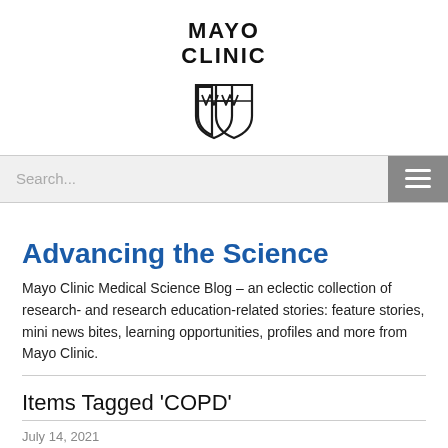[Figure (logo): Mayo Clinic logo with shield emblem and text MAYO CLINIC]
Search...
Advancing the Science
Mayo Clinic Medical Science Blog – an eclectic collection of research- and research education-related stories: feature stories, mini news bites, learning opportunities, profiles and more from Mayo Clinic.
Items Tagged 'COPD'
July 14, 2021